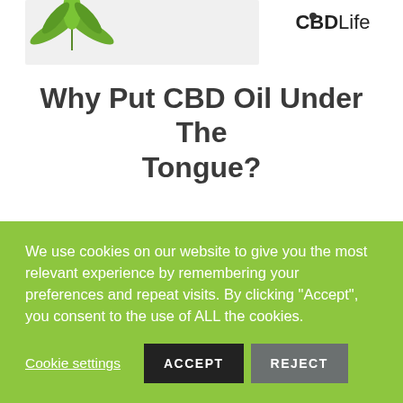[Figure (illustration): Header image showing cannabis/hemp leaves on the left and 'CBDLife' logo on the right against a white background]
Why Put CBD Oil Under The Tongue?
Why Put CBD Oil Under The Tongue?
CBD is available in many forms including sprays, capsules, vape oils and edibles (just to name a
We use cookies on our website to give you the most relevant experience by remembering your preferences and repeat visits. By clicking "Accept", you consent to the use of ALL the cookies.
Cookie settings  ACCEPT  REJECT